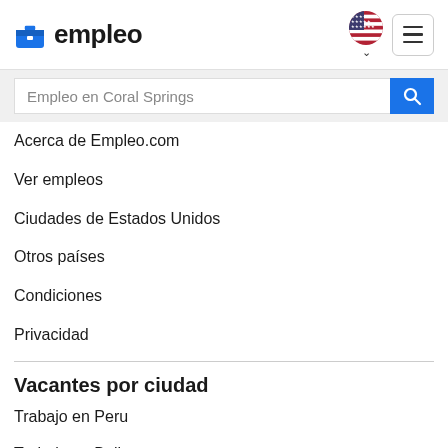empleo
Empleo en Coral Springs
Acerca de Empleo.com
Ver empleos
Ciudades de Estados Unidos
Otros países
Condiciones
Privacidad
Vacantes por ciudad
Trabajo en Peru
Trabajo en Bell
Trabajo en Miami
Trabajo en Commerce
Trabajo en Carpinteria
Trabajo en Marina